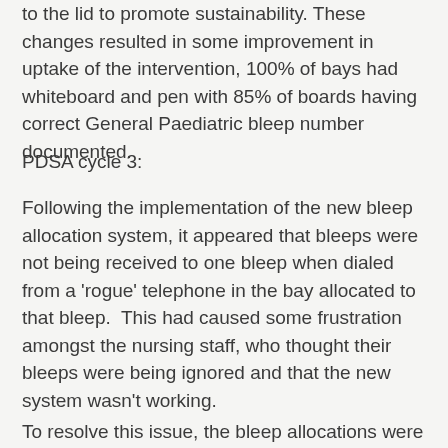to the lid to promote sustainability. These changes resulted in some improvement in uptake of the intervention, 100% of bays had whiteboard and pen with 85% of boards having correct General Paediatric bleep number documented.
PDSA cycle 3:
Following the implementation of the new bleep allocation system, it appeared that bleeps were not being received to one bleep when dialed from a 'rogue' telephone in the bay allocated to that bleep.  This had caused some frustration amongst the nursing staff, who thought their bleeps were being ignored and that the new system wasn't working.
To resolve this issue, the bleep allocations were